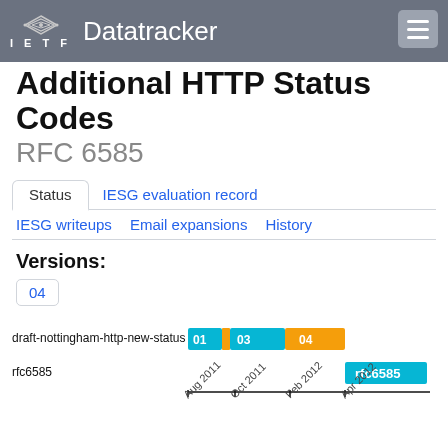IETF Datatracker
Additional HTTP Status Codes RFC 6585
Status | IESG evaluation record | IESG writeups | Email expansions | History
Versions:
04
[Figure (bar-chart): Gantt-style timeline showing versions 01, 03, 04 of draft-nottingham-http-new-status and rfc6585 across Aug 2011 to Apr 2012]
Document Type
RFC - Proposed